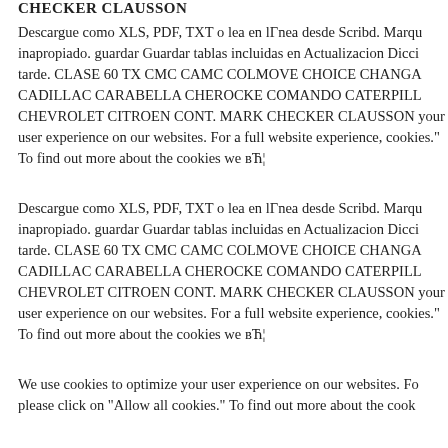CHECKER CLAUSSON
Descargue como XLS, PDF, TXT o lea en lГnea desde Scribd. Marqu inapropiado. guardar Guardar tablas incluidas en Actualizacion Dicci tarde. CLASE 60 TX CMC CAMC COLMOVE CHOICE CHANGA CADILLAC CARABELLA CHEROCKE COMANDO CATERPILL CHEVROLET CITROEN CONT. MARK CHECKER CLAUSSON your user experience on our websites. For a full website experience, cookies." To find out more about the cookies we вЋ¦
Descargue como XLS, PDF, TXT o lea en lГnea desde Scribd. Marqu inapropiado. guardar Guardar tablas incluidas en Actualizacion Dicci tarde. CLASE 60 TX CMC CAMC COLMOVE CHOICE CHANGA CADILLAC CARABELLA CHEROCKE COMANDO CATERPILL CHEVROLET CITROEN CONT. MARK CHECKER CLAUSSON your user experience on our websites. For a full website experience, cookies." To find out more about the cookies we вЋ¦
We use cookies to optimize your user experience on our websites. Fo please click on "Allow all cookies." To find out more about the cook